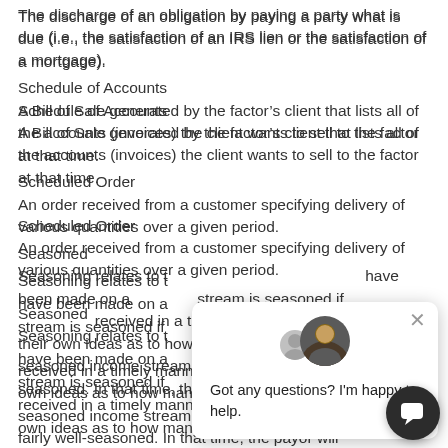The discharge of an obligation by paying a party what is due (i.e., the satisfaction of an IRS lien or the satisfaction of a mortgage).
Schedule of Accounts
A Bill of Sale generated by the factor's client that lists all of the accounts (invoices) the client wants to sell to the factor at that time.
Scheduled Order
An order received from a customer specifying delivery of various quantities over a given period.
Seasoned
Seasoning relates to the number of payments that have been made on a income stream. An income stream is seasoned if payments have been received in a timely manner. Buyers will have their own ideas as to how many payments make for a seasoned income stream, but a year's worth is fairly well-seasoned. In that time, the payor will
[Figure (other): Chat widget overlay with avatar showing a person, text 'Got any questions? I'm happy to help.' and a close button]